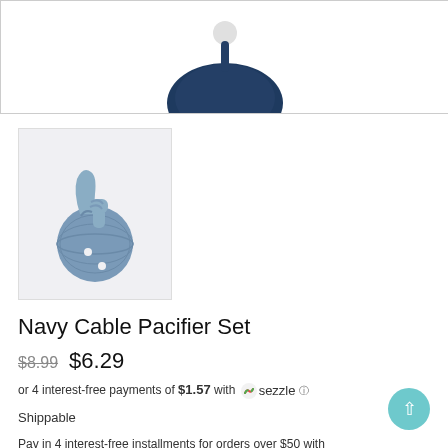[Figure (photo): Top portion of a navy/dark blue pacifier product image, cropped at top of page]
[Figure (photo): Thumbnail image of a blue-grey Navy Cable Pacifier Set on a light grey background]
Navy Cable Pacifier Set
$8.99 $6.29
or 4 interest-free payments of $1.57 with Sezzle
Shippable
Pay in 4 interest-free installments for orders over $50 with shop Pay  Learn more
Add To Wishlist   Size chart